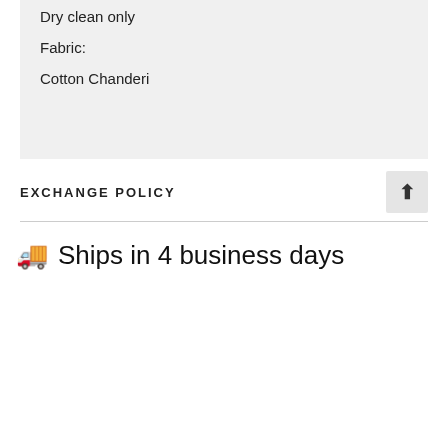NOMAD
Ideal for gifting
6 handmade flowers on stem
Measurement details:
Flower diameter 2 inches
Stick length 8 inches
Care Instructions:
Dry clean only
Fabric:
Cotton Chanderi
EXCHANGE POLICY
🚚 Ships in 4 business days